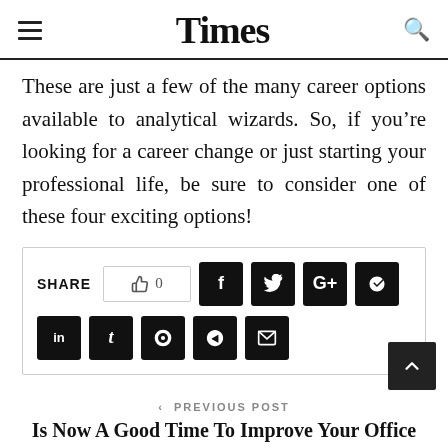Times
These are just a few of the many career options available to analytical wizards. So, if you’re looking for a career change or just starting your professional life, be sure to consider one of these four exciting options!
[Figure (other): Share bar with social media icons: like button (0), Facebook, Twitter, Google+, Pinterest, LinkedIn, Tumblr, Reddit, Telegram, Email]
< PREVIOUS POST
Is Now A Good Time To Improve Your Office Building’s Electrics?